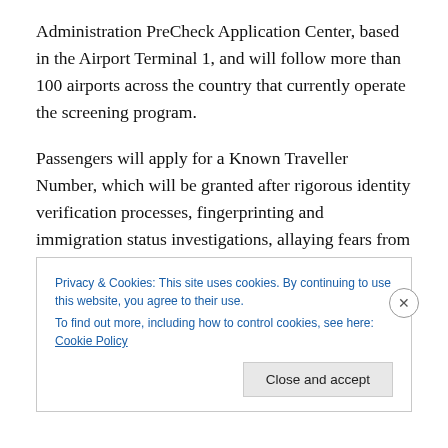Administration PreCheck Application Center, based in the Airport Terminal 1, and will follow more than 100 airports across the country that currently operate the screening program.
Passengers will apply for a Known Traveller Number, which will be granted after rigorous identity verification processes, fingerprinting and immigration status investigations, allaying fears from opposers of the scheme, who raised initial concerns about maintaining high security for airline passengers.
Privacy & Cookies: This site uses cookies. By continuing to use this website, you agree to their use. To find out more, including how to control cookies, see here: Cookie Policy